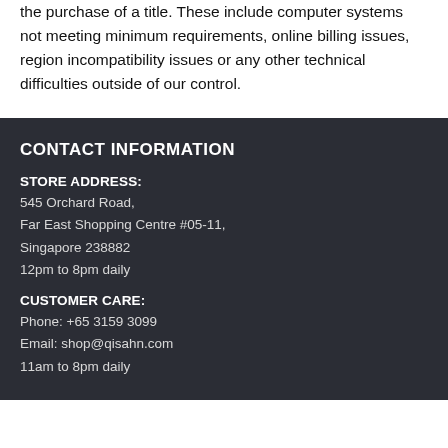the purchase of a title. These include computer systems not meeting minimum requirements, online billing issues, region incompatibility issues or any other technical difficulties outside of our control.
CONTACT INFORMATION
STORE ADDRESS:
545 Orchard Road,
Far East Shopping Centre #05-11,
Singapore 238882
12pm to 8pm daily
CUSTOMER CARE:
Phone: +65 3159 3099
Email: shop@qisahn.com
11am to 8pm daily